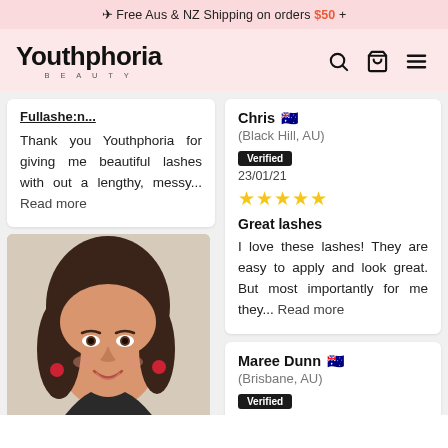✈ Free Aus & NZ Shipping on orders $50 +
[Figure (logo): Youthphoria Beauty logo with navigation icons (search, cart, menu)]
Fullashe:n... Thank you Youthphoria for giving me beautiful lashes with out a lengthy, messy... Read more
[Figure (photo): Smiling woman with dark hair, wearing red earrings and floral top]
Chris (Black Hill, AU) Verified 23/01/21 ★★★★★ Great lashes I love these lashes! They are easy to apply and look great. But most importantly for me they... Read more
Maree Dunn (Brisbane, AU) Verified